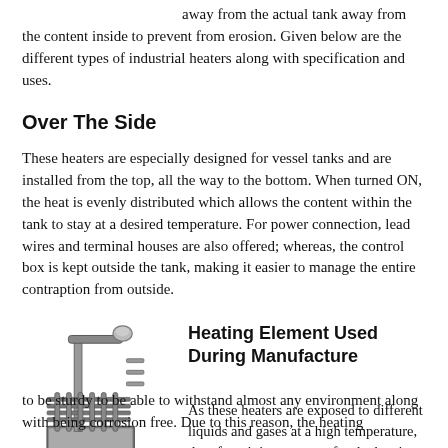away from the actual tank away from the content inside to prevent from erosion. Given below are the different types of industrial heaters along with specification and uses.
Over The Side
These heaters are especially designed for vessel tanks and are installed from the top, all the way to the bottom. When turned ON, the heat is evenly distributed which allows the content within the tank to stay at a desired temperature. For power connection, lead wires and terminal houses are also offered; whereas, the control box is kept outside the tank, making it easier to manage the entire contraption from outside.
[Figure (photo): An over-the-side industrial immersion heater with a metal bracket and heating element grid]
Heating Element Used During Manufacture
As these heaters are exposed to different liquids and gases at a high temperature, therefore, it is necessary for the heating elements to be sturdy to be able to withstand almost any environment along with being corrosion free. Due to this reason, the heating